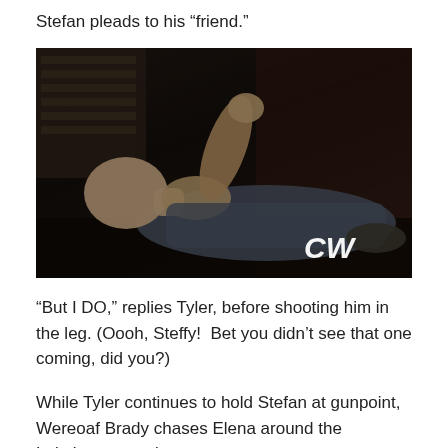Stefan pleads to his “friend.”
[Figure (photo): A person lying on their back in a dark room, head tilted back, wearing a gray shirt. CW network logo visible in lower right of frame.]
“But I DO,” replies Tyler, before shooting him in the leg. (Oooh, Steffy!  Bet you didn’t see that one coming, did you?)
While Tyler continues to hold Stefan at gunpoint, Wereoaf Brady chases Elena around the Lakehouse, saying creepy